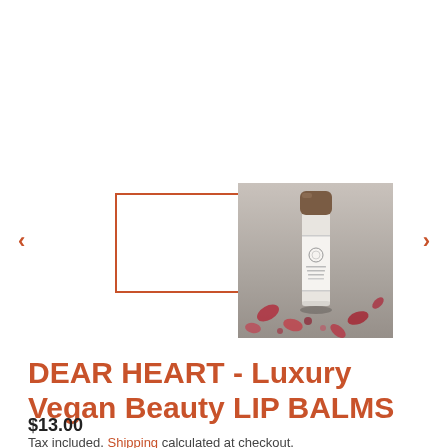[Figure (other): Left navigation arrow in orange/terracotta color]
[Figure (other): Selected thumbnail placeholder with orange/terracotta border outline, white interior]
[Figure (photo): Photo of a lip balm product in a cylindrical tube with brown cap, white label, surrounded by rose petals on a grey surface]
[Figure (other): Right navigation arrow in orange/terracotta color]
DEAR HEART - Luxury Vegan Beauty LIP BALMS
$13.00
Tax included. Shipping calculated at checkout.